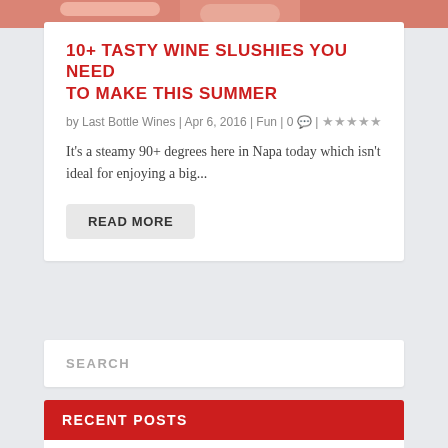[Figure (photo): Top portion of a food/drink image, partially cropped, showing pink/red tones suggesting fruit or wine slushies]
10+ TASTY WINE SLUSHIES YOU NEED TO MAKE THIS SUMMER
by Last Bottle Wines | Apr 6, 2016 | Fun | 0 | ★★★★★
It's a steamy 90+ degrees here in Napa today which isn't ideal for enjoying a big...
READ MORE
SEARCH
RECENT POSTS
Trials, Tribulations and Toilet Paper – on the road in Bordeaux